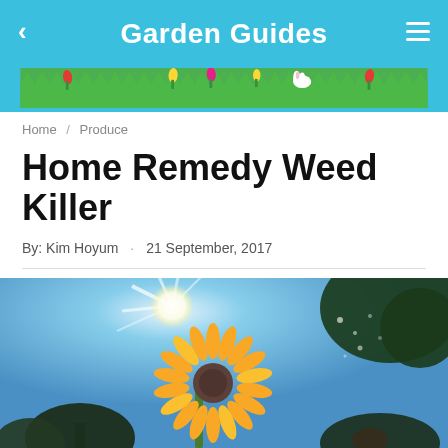Garden Guides
Home / Produce
Home Remedy Weed Killer
By: Kim Hoyum · 21 September, 2017
[Figure (photo): Close-up photo of a yellow dandelion flower backlit by bright sunlight against a blue sky, with dark trees in the background]